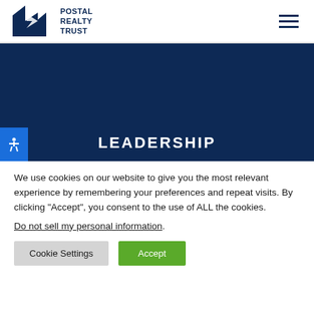[Figure (logo): Postal Realty Trust logo with geometric building shape in dark navy blue]
LEADERSHIP
We use cookies on our website to give you the most relevant experience by remembering your preferences and repeat visits. By clicking “Accept”, you consent to the use of ALL the cookies.
Do not sell my personal information.